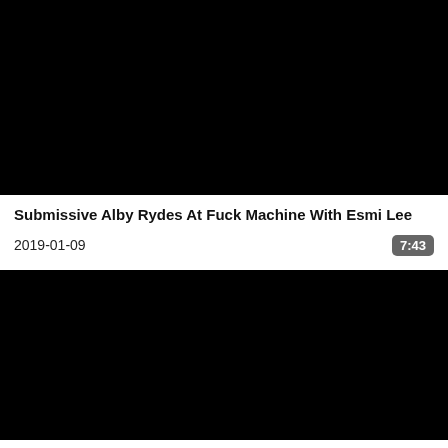[Figure (photo): Black video thumbnail placeholder, top]
Submissive Alby Rydes At Fuck Machine With Esmi Lee
2019-01-09
7:43
[Figure (photo): Black video thumbnail placeholder, bottom]